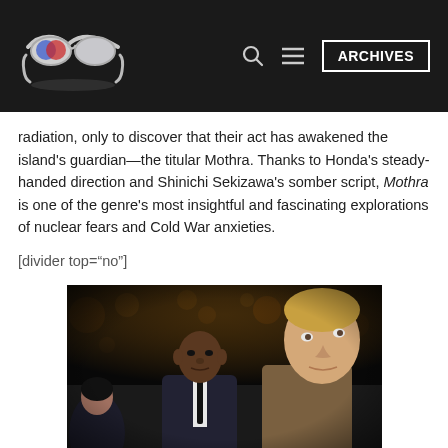ARCHIVES
radiation, only to discover that their act has awakened the island's guardian—the titular Mothra. Thanks to Honda's steady-handed direction and Shinichi Sekizawa's somber script, Mothra is one of the genre's most insightful and fascinating explorations of nuclear fears and Cold War anxieties.
[divider top="no"]
[Figure (photo): Movie still showing three actors — a woman on the left, a Black man in a suit in center-left, and a young white man in foreground right, in a dark urban setting with bokeh city lights in background.]